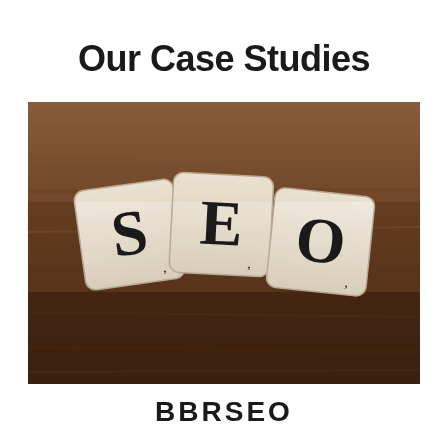Our Case Studies
[Figure (photo): Three Scrabble tiles spelling 'SEO' placed on a wooden surface. The tiles are cream/beige colored with dark letters S, E, and O, each with a small number in the corner, photographed close-up on a dark brown wood grain background.]
BBRSEO